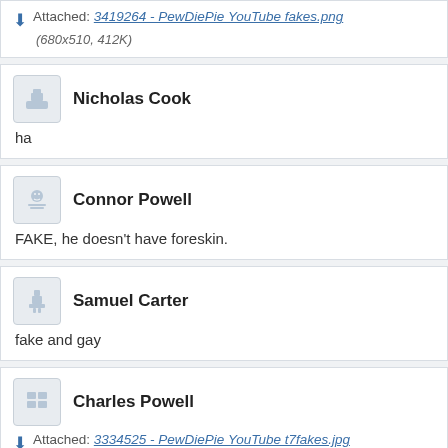Attached: 3419264 - PewDiePie YouTube fakes.png (680x510, 412K)
Nicholas Cook
ha
Connor Powell
FAKE, he doesn't have foreskin.
Samuel Carter
fake and gay
Charles Powell
Attached: 3334525 - PewDiePie YouTube t7fakes.jpg